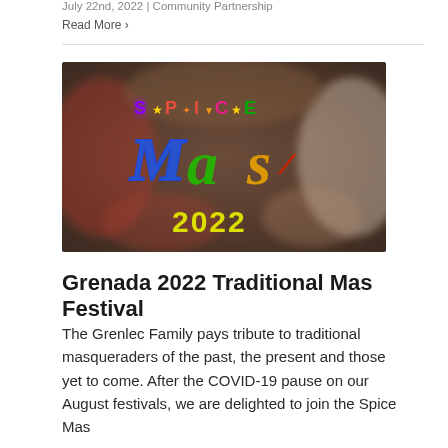July 22nd, 2022 | Community Partnership
Read More ›
[Figure (illustration): Spice Mas 2022 colorful festival logo with the text S★P✦I▼C★E in multicolored letters and 'Mas' in large rainbow script letters, with '2022' in yellow below, set against a blurred festive crowd background]
Grenada 2022 Traditional Mas Festival
The Grenlec Family pays tribute to traditional masqueraders of the past, the present and those yet to come. After the COVID-19 pause on our August festivals, we are delighted to join the Spice Mas